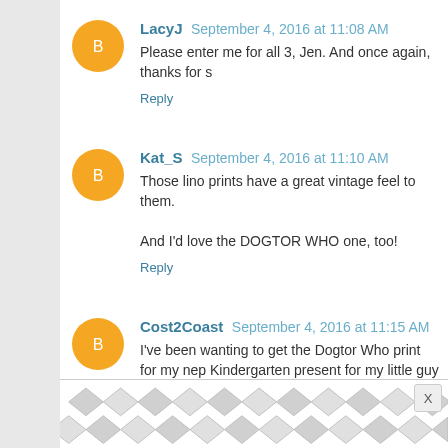LacyJ September 4, 2016 at 11:08 AM
Please enter me for all 3, Jen. And once again, thanks for s
Reply
Kat_S September 4, 2016 at 11:10 AM
Those lino prints have a great vintage feel to them.

And I'd love the DOGTOR WHO one, too!
Reply
Cost2Coast September 4, 2016 at 11:15 AM
I've been wanting to get the Dogtor Who print for my nep Kindergarten present for my little guy
Reply
Unknown September 4, 2016 at 11:25 AM
I would love to win either a wild card, or Dogtor Who o
[Figure (other): Advertisement banner with geometric hexagon/diamond pattern in gray and white]